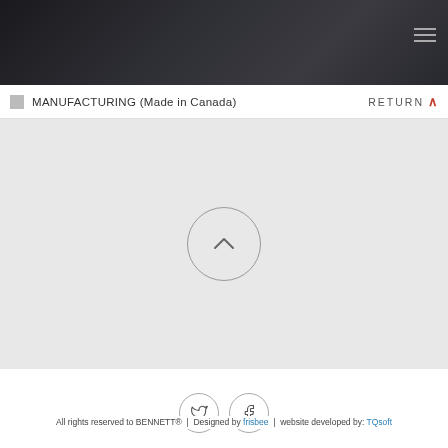[Figure (photo): Dark photographic image area at top of page, partially cut off, showing a dark background with faint figure]
MANUFACTURING (Made in Canada)
RETURN ∧
[Figure (other): Circular button with upward chevron arrow, on a grey background section]
[Figure (other): Twitter and Facebook social media icon circles]
All rights reserved to BENNETT® | Designed by frisbee | website developed by: TQsoft